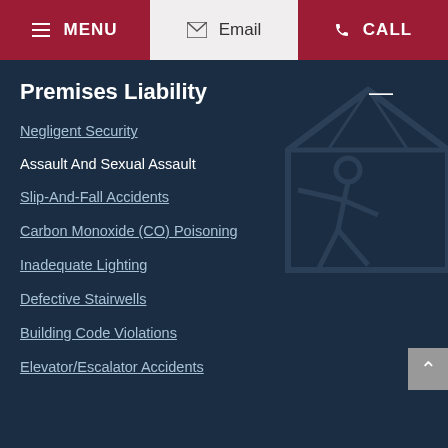≡ MENU  ✉ Email  📞 CALL
Premises Liability
Negligent Security
Assault And Sexual Assault
Slip-And-Fall Accidents
Carbon Monoxide (CO) Poisoning
Inadequate Lighting
Defective Stairwells
Building Code Violations
Elevator/Escalator Accidents